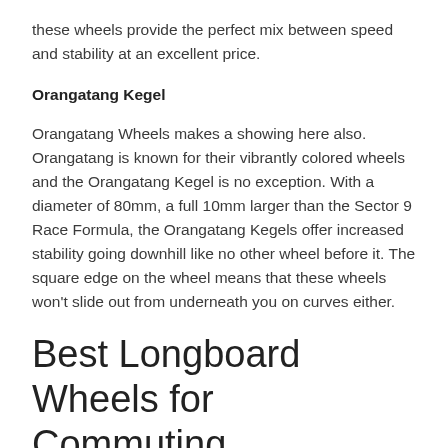these wheels provide the perfect mix between speed and stability at an excellent price.
Orangatang Kegel
Orangatang Wheels makes a showing here also. Orangatang is known for their vibrantly colored wheels and the Orangatang Kegel is no exception. With a diameter of 80mm, a full 10mm larger than the Sector 9 Race Formula, the Orangatang Kegels offer increased stability going downhill like no other wheel before it. The square edge on the wheel means that these wheels won't slide out from underneath you on curves either.
Best Longboard Wheels for Commuting